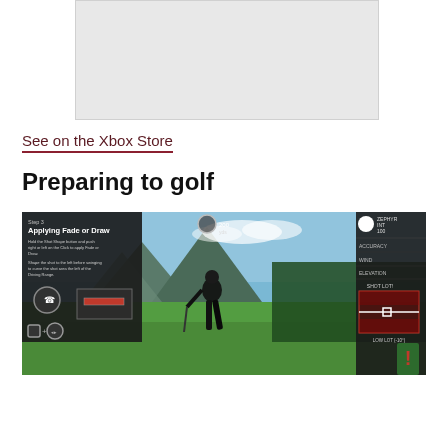[Figure (screenshot): Gray placeholder image area at top of page]
See on the Xbox Store
Preparing to golf
[Figure (screenshot): Golf video game screenshot showing 'Applying Fade or Draw' tutorial step 3. A golfer is mid-swing on a green course with mountains and trees in the background. Left panel shows game instructions. Right panel shows swing meter and shot details.]